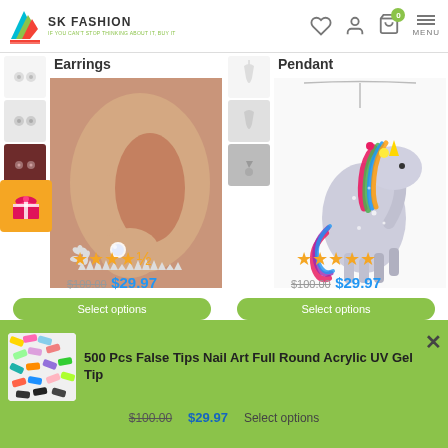SK FASHION - IF YOU CAN'T STOP THINKING ABOUT IT, BUY IT
[Figure (photo): Earrings product page with ear photo showing crystal stud earrings with floral jacket, thumbnail images on left, gift badge, star rating 4.5/5, original price $100.00 sale price $29.97, Select options button]
[Figure (photo): Pendant product page with unicorn crystal pendant necklace in multicolor, thumbnail images on left, Multicolor label, star rating 5/5, original price $100.00 sale price $29.97, Select options button]
[Figure (photo): Bottom notification bar showing 500 Pcs False Tips Nail Art Full Round Acrylic UV Gel Tip product with colorful nail tips image, original price $100.00, sale price $29.97, Select options button, close X button]